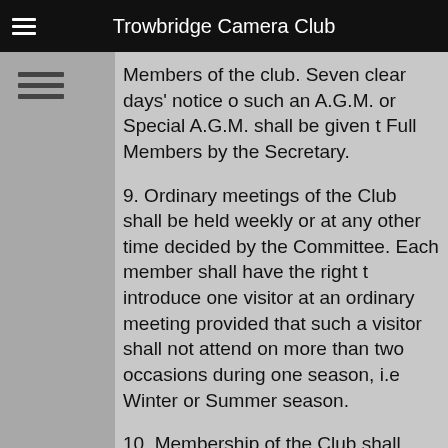Trowbridge Camera Club
Members of the club. Seven clear days' notice of such an A.G.M. or Special A.G.M. shall be given to Full Members by the Secretary.
9. Ordinary meetings of the Club shall be held weekly or at any other time decided by the Committee. Each member shall have the right to introduce one visitor at an ordinary meeting provided that such a visitor shall not attend on more than two occasions during one season, i.e. Winter or Summer season.
10. Membership of the Club shall consist of Full Members aged 18 years of age and over Pers...